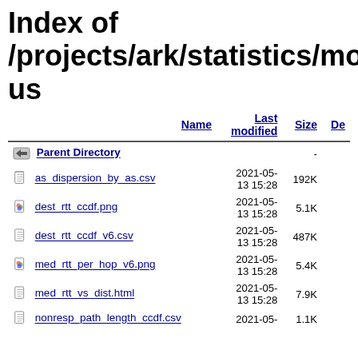Index of /projects/ark/statistics/monitor/a us
| Name | Last modified | Size | De |
| --- | --- | --- | --- |
| Parent Directory |  | - |  |
| as_dispersion_by_as.csv | 2021-05-13 15:28 | 192K |  |
| dest_rtt_ccdf.png | 2021-05-13 15:28 | 5.1K |  |
| dest_rtt_ccdf_v6.csv | 2021-05-13 15:28 | 487K |  |
| med_rtt_per_hop_v6.png | 2021-05-13 15:28 | 5.4K |  |
| med_rtt_vs_dist.html | 2021-05-13 15:28 | 7.9K |  |
| nonresp_path_length_ccdf.csv | 2021-05- | 1.1K |  |